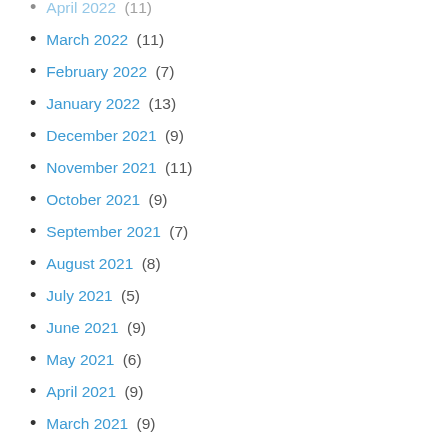April 2022 (11)
March 2022 (11)
February 2022 (7)
January 2022 (13)
December 2021 (9)
November 2021 (11)
October 2021 (9)
September 2021 (7)
August 2021 (8)
July 2021 (5)
June 2021 (9)
May 2021 (6)
April 2021 (9)
March 2021 (9)
February 2021 (7)
January 2021 (8)
December 2020 (24)